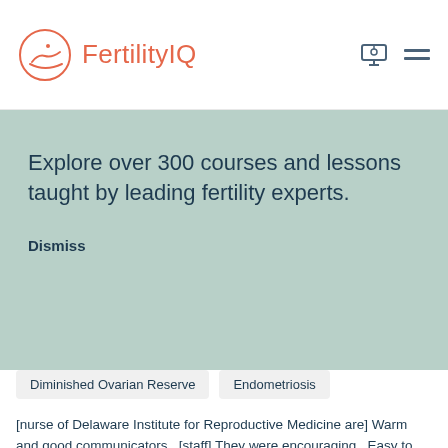FertilityIQ
Explore over 300 courses and lessons taught by leading fertility experts.
Dismiss
Diminished Ovarian Reserve
Endometriosis
[nurse of Delaware Institute for Reproductive Medicine are] Warm and good communicators...[staff] They were encouraging...Easy to work with. Professional. On time...[cost] Price match clinics in the state and some neighboring states...Allowed me to